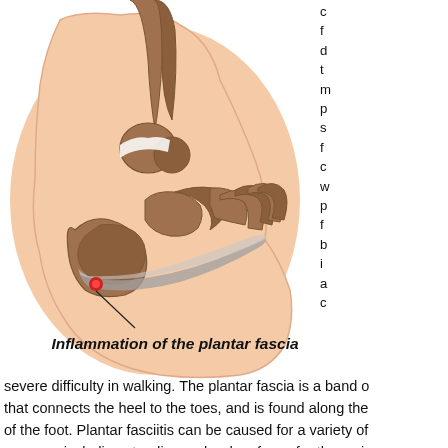[Figure (illustration): Medical illustration of a human foot showing the bone structure and the plantar fascia. A red dot marks the point of inflammation at the heel where the plantar fascia attaches, with a line pointing to it. The label 'Inflammation of the plantar fascia' appears below the illustration in bold italic text.]
Inflammation of the plantar fascia
c f d t m p s f c w p f b i a c severe difficulty in walking. The plantar fascia is a band of that connects the heel to the toes, and is found along the of the foot. Plantar fasciitis can be caused for a variety of reasons, including standing on hard surfaces for the majo the day, wearing shoes that do not fit correctly, or it may